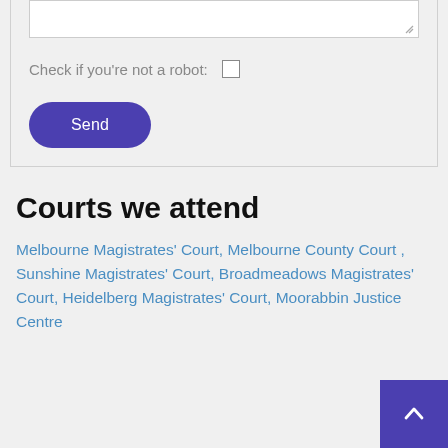[Figure (screenshot): Web form bottom section showing a textarea with resize handle, a 'Check if you're not a robot' checkbox row, and a purple 'Send' button]
Courts we attend
Melbourne Magistrates' Court, Melbourne County Court , Sunshine Magistrates' Court, Broadmeadows Magistrates' Court, Heidelberg Magistrates' Court, Moorabbin Justice Centre